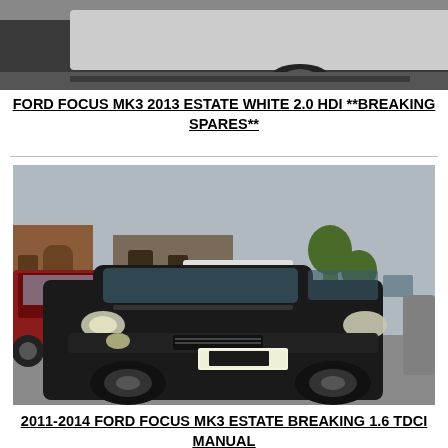[Figure (photo): Partial view of a white Ford Focus estate car, top portion cut off showing mainly the road and lower part of vehicle]
FORD FOCUS MK3 2013 ESTATE WHITE 2.0 HDI **BREAKING SPARES**
[Figure (photo): Black Ford Focus MK3 estate car parked in a yard/car park with other vehicles visible in the background, registration plate partially obscured]
2011-2014 FORD FOCUS MK3 ESTATE BREAKING 1.6 TDCI MANUAL